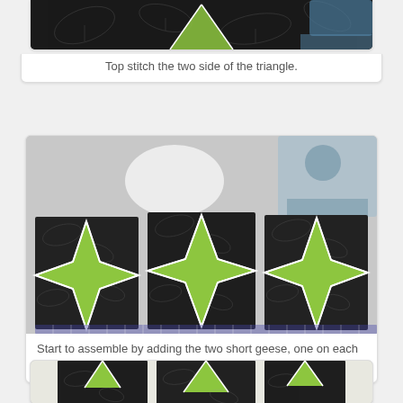[Figure (photo): Close-up photo of dark fabric with leaf pattern and a green triangle being sewn on a sewing machine, partially visible at top of page.]
Top stitch the two side of the triangle.
[Figure (photo): Photo of three star/compass quilt blocks made with yellow-green fabric on dark leaf-patterned fabric, arranged on a white table under a sewing machine arm.]
Start to assemble by adding the two short geese, one on each side.
[Figure (photo): Photo of partially assembled quilt blocks showing green triangular pieces arranged on dark fabric, partially visible at bottom of page.]